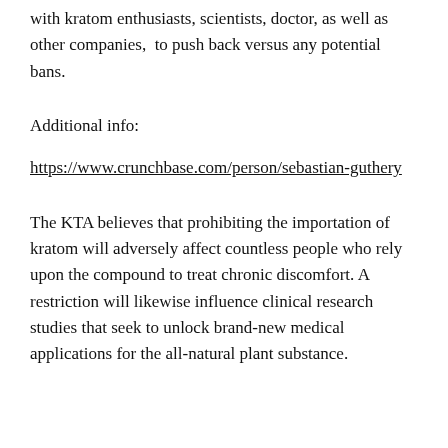with kratom enthusiasts, scientists, doctor, as well as other companies,  to push back versus any potential bans.
Additional info:
https://www.crunchbase.com/person/sebastian-guthery
The KTA believes that prohibiting the importation of kratom will adversely affect countless people who rely upon the compound to treat chronic discomfort. A restriction will likewise influence clinical research studies that seek to unlock brand-new medical applications for the all-natural plant substance.